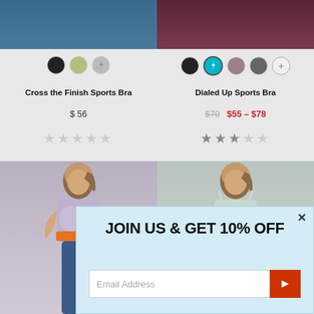[Figure (photo): Top portion of two sports bra product photos. Left: blue/teal sports bra. Right: dark burgundy/maroon sports bra.]
Cross the Finish Sports Bra
$56
$70  $55 – $78
Dialed Up Sports Bra
[Figure (photo): Bottom portion showing two sports bra product photos. Left: lavender/purple sports bra with orange accent. Right: light mint/gray sports bra.]
JOIN US & GET 10% OFF
Email Address